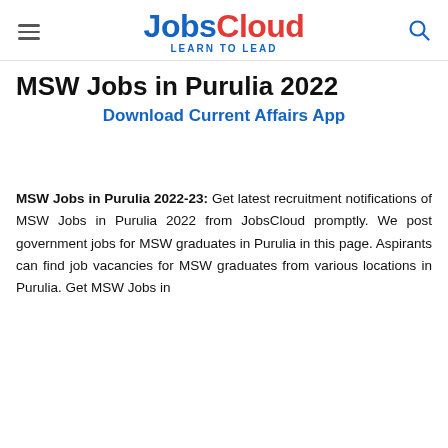JobsCloud — LEARN TO LEAD
MSW Jobs in Purulia 2022
Download Current Affairs App
MSW Jobs in Purulia 2022-23: Get latest recruitment notifications of MSW Jobs in Purulia 2022 from JobsCloud promptly. We post government jobs for MSW graduates in Purulia in this page. Aspirants can find job vacancies for MSW graduates from various locations in Purulia. Get MSW Jobs in